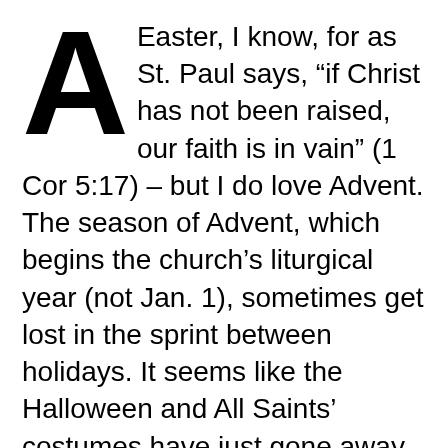Easter, I know, for as St. Paul says, “if Christ has not been raised, our faith is in vain” (1 Cor 5:17) – but I do love Advent. The season of Advent, which begins the church’s liturgical year (not Jan. 1), sometimes get lost in the sprint between holidays. It seems like the Halloween and All Saints’ costumes have just gone away when Mariah Carey emerges from her summertime slumber and Christmas music, shopping and bright decorations dominate our senses until Christmas Day. One sympathizes with the Grinch – “oh the noise, noise, noise, noise!” It’s exhausting.
C.S. Lewis reflects on this reality in his very funny (if not equally cynical) essay, “What